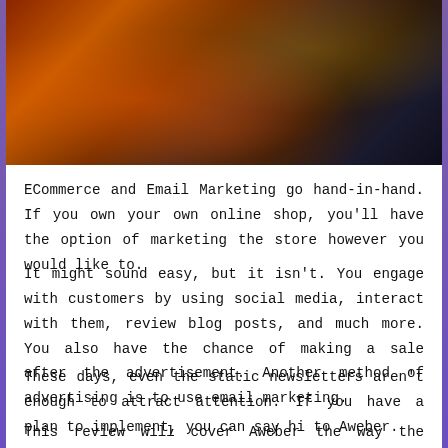[Figure (photo): A photo of a laptop on a table in a dimly lit restaurant or bar setting with warm reddish-orange ambient lighting and bokeh lights in the background.]
ECommerce and Email Marketing go hand-in-hand. If you own your own online shop, you'll have the option of marketing the store however you would like to.
It might sound easy, but it isn't. You engage with customers by using social media, interact with them, review blog posts, and much more. You also have the chance of making a sale after the advertisement. Another method of advertising is to use email marketing.
These days, even the static newsletters aren't enough to attract attention. If you have a plan to implement, you can say hi to Aweber.
This review will cover Aweber the way the email marketing